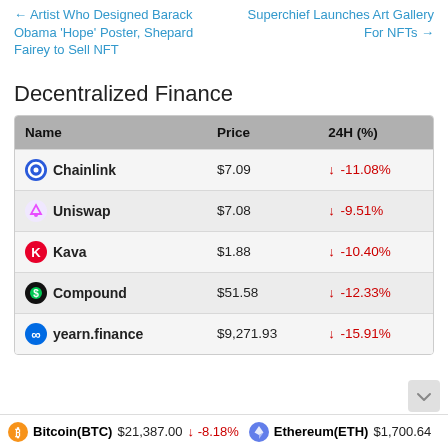← Artist Who Designed Barack Obama 'Hope' Poster, Shepard Fairey to Sell NFT
Superchief Launches Art Gallery For NFTs →
Decentralized Finance
| Name | Price | 24H (%) |
| --- | --- | --- |
| Chainlink | $7.09 | ↓ -11.08% |
| Uniswap | $7.08 | ↓ -9.51% |
| Kava | $1.88 | ↓ -10.40% |
| Compound | $51.58 | ↓ -12.33% |
| yearn.finance | $9,271.93 | ↓ -15.91% |
Bitcoin(BTC) $21,387.00 ↓ -8.18%   Ethereum(ETH) $1,700.64